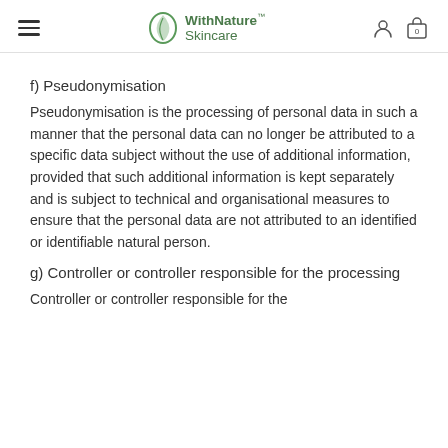WithNature Skincare
f) Pseudonymisation
Pseudonymisation is the processing of personal data in such a manner that the personal data can no longer be attributed to a specific data subject without the use of additional information, provided that such additional information is kept separately and is subject to technical and organisational measures to ensure that the personal data are not attributed to an identified or identifiable natural person.
g) Controller or controller responsible for the processing
Controller or controller responsible for the processing is the natural or legal person...